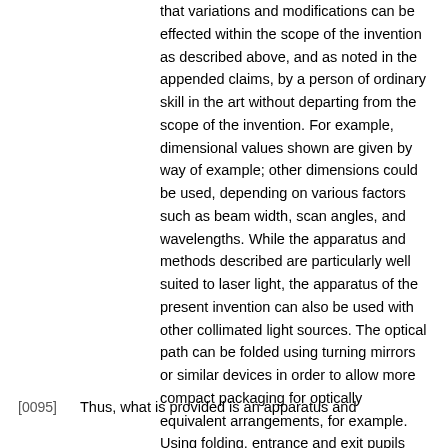that variations and modifications can be effected within the scope of the invention as described above, and as noted in the appended claims, by a person of ordinary skill in the art without departing from the scope of the invention. For example, dimensional values shown are given by way of example; other dimensions could be used, depending on various factors such as beam width, scan angles, and wavelengths. While the apparatus and methods described are particularly well suited to laser light, the apparatus of the present invention can also be used with other collimated light sources. The optical path can be folded using turning mirrors or similar devices in order to allow more compact packaging for optically equivalent arrangements, for example. Using folding, entrance and exit pupils can be optically coplanar, for example, without being geometrically disposed within the same plane. Convex and concave reflective surfaces can be spherical or non-spherical, as has been described.
[0095] Thus, what is provided is an apparatus and